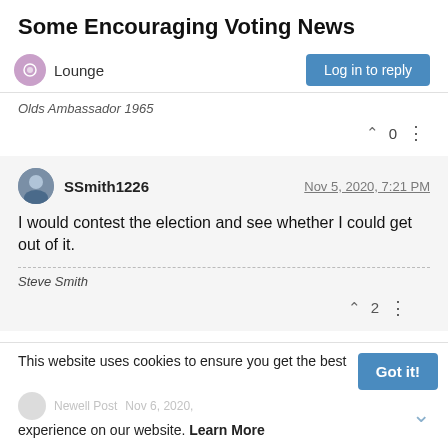Some Encouraging Voting News
Lounge
Log in to reply
Olds Ambassador 1965
0
SSmith1226  Nov 5, 2020, 7:21 PM
I would contest the election and see whether I could get out of it.
Steve Smith
2
This website uses cookies to ensure you get the best experience on our website. Learn More
Got it!
Newell Post  Nov 6, 2020,